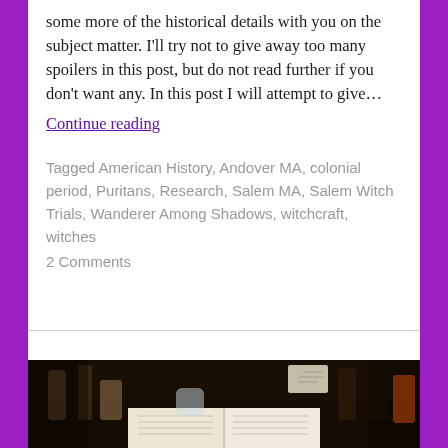some more of the historical details with you on the subject matter. I'll try not to give away too many spoilers in this post, but do not read further if you don't want any. In this post I will attempt to give…
Continue reading
Tagged American History, Andover MA, colonial period, Puritans, Research, Salem MA, Salem Witch Trials, Wanderer Among Shadows, witchcraft, witches
2 Comments
[Figure (photo): A dark photo of an open book surrounded by various bottles, jars, and objects on a table, with witchcraft/occult themed items visible]